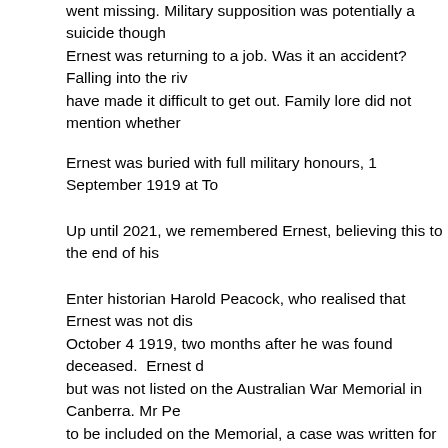went missing. Military supposition was potentially a suicide though Ernest was returning to a job. Was it an accident? Falling into the river have made it difficult to get out. Family lore did not mention whether
Ernest was buried with full military honours, 1 September 1919 at To
Up until 2021, we remembered Ernest, believing this to the end of his
Enter historian Harold Peacock, who realised that Ernest was not dis October 4 1919, two months after he was found deceased. Ernest d but was not listed on the Australian War Memorial in Canberra. Mr Pe to be included on the Memorial, a case was written for his recommen Council.
The Honour Roll Team reviews those not listed to determine those w cracks". They recommended twenty names in 2020 to be included. T now listed in the Roll of Honour database and his name will be cast i Canberra.
For the first time, his name will be projected onto the exterior of the Memorial on Saturday the 7th on August 2021 at 1:21am.